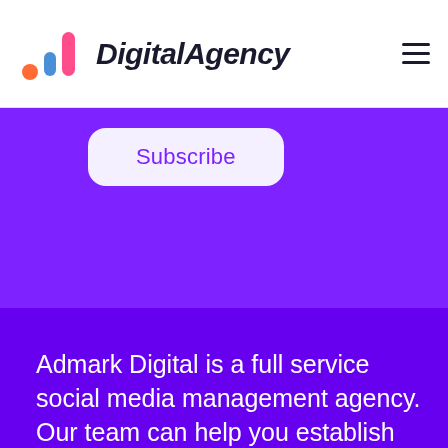DigitalAgency
[Figure (logo): DigitalAgency logo with colorful bar chart icon and italic bold text]
Subscribe
Admark Digital is a full service social media management agency. Our team can help you establish your business objectives, identify your